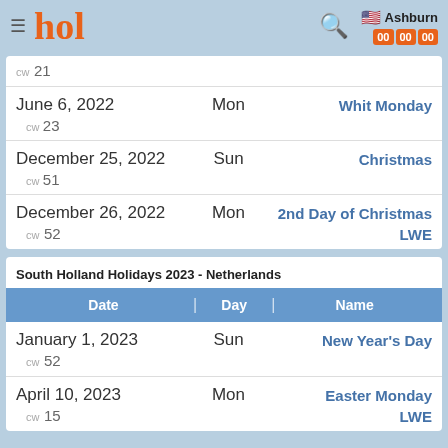hol — Ashburn — 00:00:00
| Date | Day | Name |
| --- | --- | --- |
| CW 21 |  |  |
| June 6, 2022 | Mon | Whit Monday |
| CW 23 |  |  |
| December 25, 2022 | Sun | Christmas |
| CW 51 |  |  |
| December 26, 2022 | Mon | 2nd Day of Christmas |
| CW 52 |  | LWE |
South Holland Holidays 2023 - Netherlands
| Date | Day | Name |
| --- | --- | --- |
| January 1, 2023 | Sun | New Year's Day |
| CW 52 |  |  |
| April 10, 2023 | Mon | Easter Monday |
| CW 15 |  | LWE |